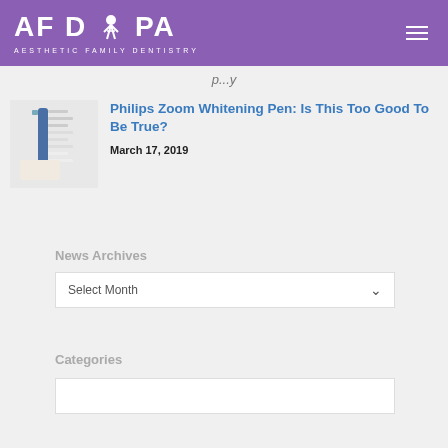AFDPA AESTHETIC FAMILY DENTISTRY
Philips Zoom Whitening Pen: Is This Too Good To Be True?
March 17, 2019
News Archives
Select Month
Categories